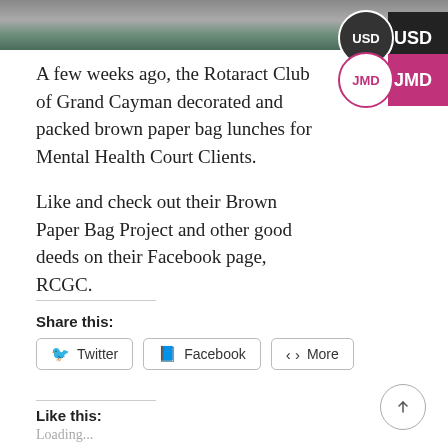[Figure (photo): Top portion of a photo showing people at an event, cropped to a horizontal strip]
A few weeks ago, the Rotaract Club of Grand Cayman decorated and packed brown paper bag lunches for Mental Health Court Clients.
Like and check out their Brown Paper Bag Project and other good deeds on their Facebook page, RCGC.
Share this:
Twitter   Facebook   More
Like this:
Loading...